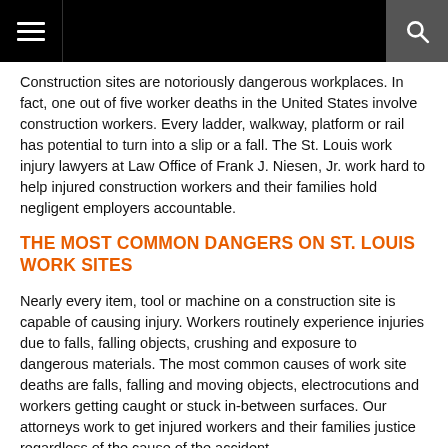Construction sites are notoriously dangerous workplaces. In fact, one out of five worker deaths in the United States involve construction workers. Every ladder, walkway, platform or rail has potential to turn into a slip or a fall. The St. Louis work injury lawyers at Law Office of Frank J. Niesen, Jr. work hard to help injured construction workers and their families hold negligent employers accountable.
THE MOST COMMON DANGERS ON ST. LOUIS WORK SITES
Nearly every item, tool or machine on a construction site is capable of causing injury. Workers routinely experience injuries due to falls, falling objects, crushing and exposure to dangerous materials. The most common causes of work site deaths are falls, falling and moving objects, electrocutions and workers getting caught or stuck in-between surfaces. Our attorneys work to get injured workers and their families justice regardless of the cause of the accident.